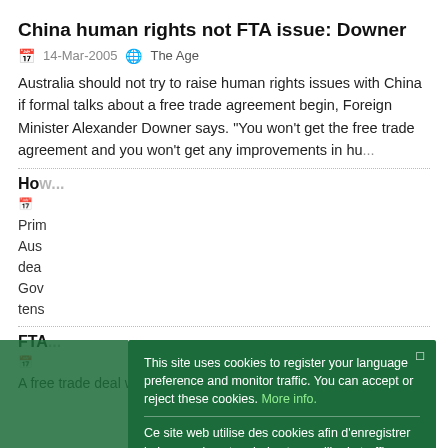China human rights not FTA issue: Downer
14-Mar-2005  The Age
Australia should not try to raise human rights issues with China if formal talks about a free trade agreement begin, Foreign Minister Alexander Downer says. "You won't get the free trade agreement and you won't get any improvements in hu...
Ho...
Prim... Aus... dea... Gov... tens...
FTA...
A free trade deal with China may take up to five years to
This site uses cookies to register your language preference and monitor traffic. You can accept or reject these cookies. More info.

Ce site web utilise des cookies afin d'enregistrer la langue de votre choix et surveiller le traffic. Vous pouvez accepter ou refuser ces cookies. Plus d'infos.

Este sitio web utiliza cookies con el objetivo de registrar su idioma preferido y controlar el tráfico. Puede aceptar o rechazar estas cookies. Mayor información.

Ok